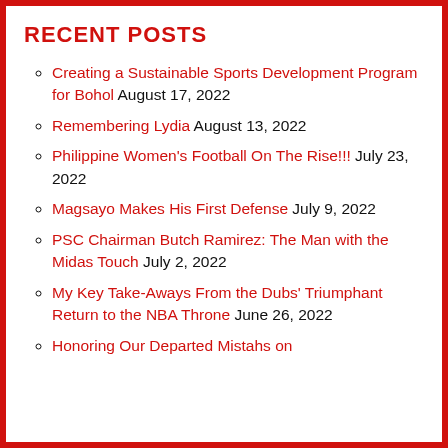RECENT POSTS
Creating a Sustainable Sports Development Program for Bohol August 17, 2022
Remembering Lydia August 13, 2022
Philippine Women's Football On The Rise!!! July 23, 2022
Magsayo Makes His First Defense July 9, 2022
PSC Chairman Butch Ramirez: The Man with the Midas Touch July 2, 2022
My Key Take-Aways From the Dubs' Triumphant Return to the NBA Throne June 26, 2022
Honoring Our Departed Mistahs on